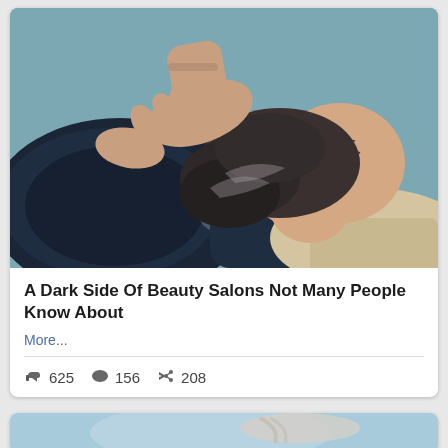[Figure (photo): A woman leaning back at a salon hair-washing basin, eyes closed, with someone's hands massaging shampoo into her wet curly hair. Dark blue salon sink bowl visible in background.]
A Dark Side Of Beauty Salons Not Many People Know About
More...
625  156  208
[Figure (photo): Partial view of a person with light-colored braided or upswept hair against a light blue background.]